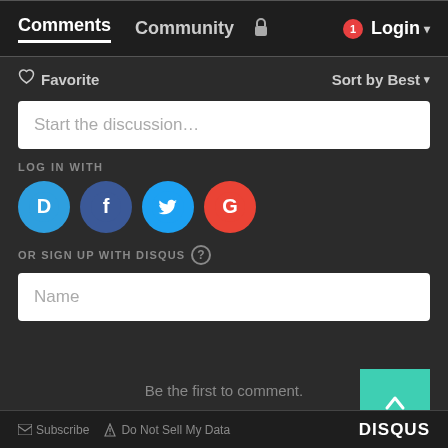Comments  Community  🔒  1  Login
♡ Favorite    Sort by Best
Start the discussion...
LOG IN WITH
[Figure (logo): Social login icons: Disqus (D, blue circle), Facebook (f, dark blue circle), Twitter (bird, light blue circle), Google (G, red circle)]
OR SIGN UP WITH DISQUS ?
Name
Be the first to comment.
✉ Subscribe  ⚠ Do Not Sell My Data    DISQUS